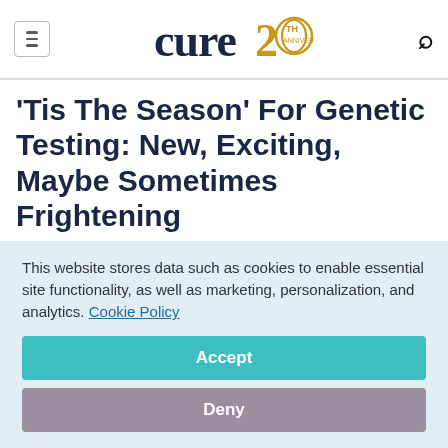cure 20TH (logo) [hamburger menu] [search icon]
'Tis The Season' For Genetic Testing: New, Exciting, Maybe Sometimes Frightening
December 14, 2019
Barbara Tako
[Figure (illustration): Row of social media sharing icons: Facebook (blue), Twitter (light blue), LinkedIn (blue), Pinterest (red), Email (gray)]
This website stores data such as cookies to enable essential site functionality, as well as marketing, personalization, and analytics. Cookie Policy
Accept
Deny